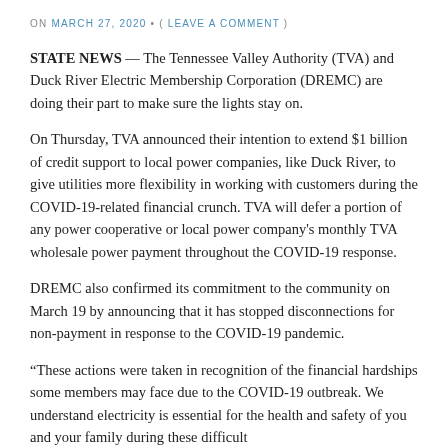ON MARCH 27, 2020 • ( LEAVE A COMMENT )
STATE NEWS — The Tennessee Valley Authority (TVA) and Duck River Electric Membership Corporation (DREMC) are doing their part to make sure the lights stay on.
On Thursday, TVA announced their intention to extend $1 billion of credit support to local power companies, like Duck River, to give utilities more flexibility in working with customers during the COVID-19-related financial crunch. TVA will defer a portion of any power cooperative or local power company's monthly TVA wholesale power payment throughout the COVID-19 response.
DREMC also confirmed its commitment to the community on March 19 by announcing that it has stopped disconnections for non-payment in response to the COVID-19 pandemic.
“These actions were taken in recognition of the financial hardships some members may face due to the COVID-19 outbreak. We understand electricity is essential for the health and safety of you and your family during these difficult